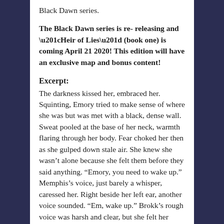Black Dawn series.
The Black Dawn series is re- releasing and “Heir of Lies” (book one) is coming April 21 2020! This edition will have an exclusive map and bonus content!
Excerpt:
The darkness kissed her, embraced her. Squinting, Emory tried to make sense of where she was but was met with a black, dense wall. Sweat pooled at the base of her neck, warmth flaring through her body. Fear choked her then as she gulped down stale air. She knew she wasn’t alone because she felt them before they said anything. “Emory, you need to wake up.” Memphis’s voice, just barely a whisper, caressed her. Right beside her left ear, another voice sounded. “Em, wake up.” Brokk’s rough voice was harsh and clear, but she felt her body